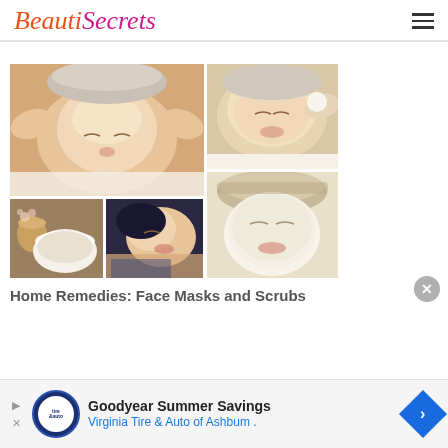BeautiSecrets
[Figure (photo): Collage of face mask and scrub spa treatment photos: woman receiving facial massage, spa products in bowls, woman lying for facial, woman with white face mask applied]
Home Remedies: Face Masks and Scrubs
[Figure (other): Advertisement for Goodyear Summer Savings - Virginia Tire & Auto of Ashburn with Goodyear/Virginia Tire & Auto logo and blue diamond arrow]